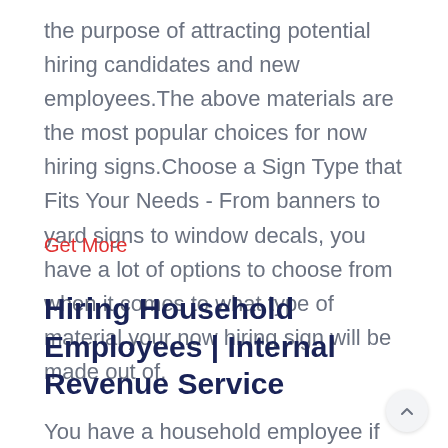the purpose of attracting potential hiring candidates and new employees.The above materials are the most popular choices for now hiring signs.Choose a Sign Type that Fits Your Needs - From banners to yard signs to window decals, you have a lot of options to choose from when it comes to what type of material your now hiring sign will be made out of.
Get More
Hiring Household Employees | Internal Revenue Service
You have a household employee if you hired